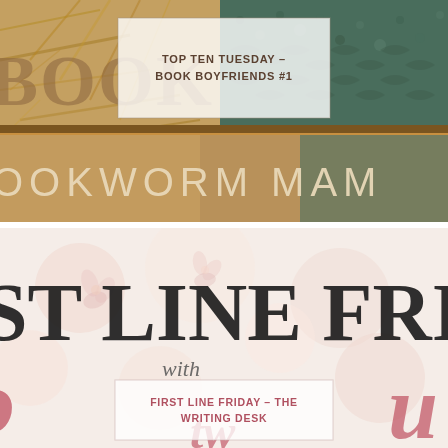[Figure (illustration): Top banner image showing a collage with large decorative text 'BOOK BOYFRIEND' visible behind, with a wheat/straw texture on the left and a patterned green/teal textile on the right. Below that, the text 'OOKWORM MAM' visible on a brown/gold stripe with nature photography. A white semi-transparent box overlay reads 'TOP TEN TUESDAY - BOOK BOYFRIENDS #1'.]
TOP TEN TUESDAY - BOOK BOYFRIENDS #1
[Figure (illustration): Bottom banner image. Light pink/white background with floral bokeh. Large serif letters 'ST LINE FRI' (First Line Friday) partially visible in dark bold text. Script text 'with' in italic. A pink script/calligraphy design partially visible on left and right edges. A white semi-transparent box overlay reads 'FIRST LINE FRIDAY - THE WRITING DESK'.]
FIRST LINE FRIDAY - THE WRITING DESK